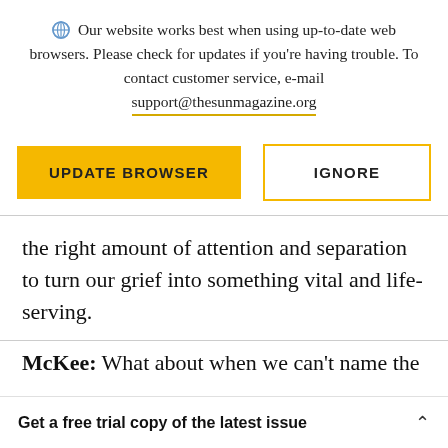Our website works best when using up-to-date web browsers. Please check for updates if you're having trouble. To contact customer service, e-mail support@thesunmagazine.org
[Figure (screenshot): Two buttons: UPDATE BROWSER (yellow filled) and IGNORE (yellow outline)]
the right amount of attention and separation to turn our grief into something vital and life-serving.
McKee: What about when we can't name the
Get a free trial copy of the latest issue